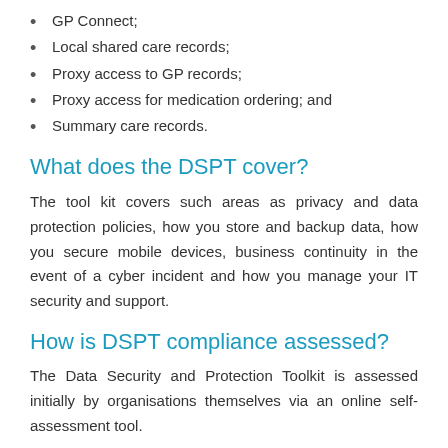GP Connect;
Local shared care records;
Proxy access to GP records;
Proxy access for medication ordering; and
Summary care records.
What does the DSPT cover?
The tool kit covers such areas as privacy and data protection policies, how you store and backup data, how you secure mobile devices, business continuity in the event of a cyber incident and how you manage your IT security and support.
How is DSPT compliance assessed?
The Data Security and Protection Toolkit is assessed initially by organisations themselves via an online self-assessment tool.